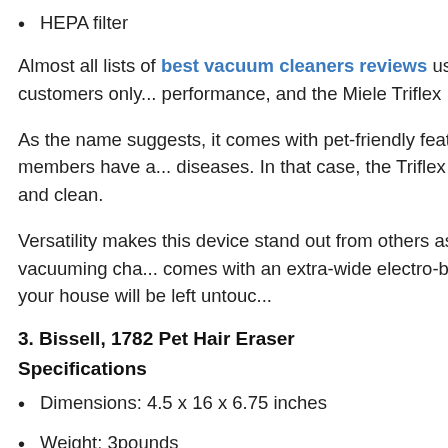HEPA filter
Almost all lists of best vacuum cleaners reviews usu... German-made manufacturer provides customers only... performance, and the Miele Triflex HX1 Cat & Dog is n...
As the name suggests, it comes with pet-friendly featu... surfaces. Suppose you or your family members have a... diseases. In that case, the Triflex HX1 is a perfect cho... space is always fresh and clean.
Versatility makes this device stand out from others as... handheld, allowing users to ace every vacuuming cha... comes with an extra-wide electro-brush of 11" couple... detection. No corners of your house will be left untouc...
3. Bissell, 1782 Pet Hair Eraser
Specifications
Dimensions: 4.5 x 16 x 6.75 inches
Weight: 3pounds
Voltage: 14.4 volts
Dust cup capacity: 0.7 litres